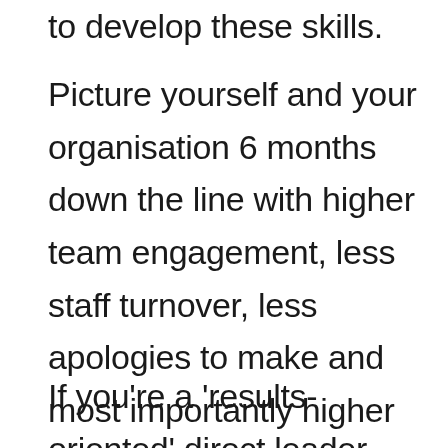to develop these skills.
Picture yourself and your organisation 6 months down the line with higher team engagement, less staff turnover, less apologies to make and most importantly higher productivity and ROI.
If you're a 'results-oriented' direct leader with a reputation for being